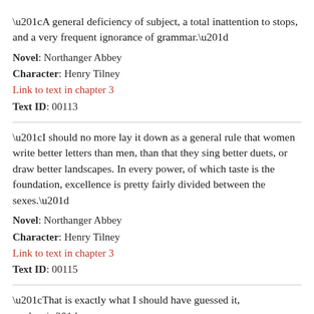“A general deficiency of subject, a total inattention to stops, and a very frequent ignorance of grammar.”
Novel: Northanger Abbey
Character: Henry Tilney
Link to text in chapter 3
Text ID: 00113
“I should no more lay it down as a general rule that women write better letters than men, than that they sing better duets, or draw better landscapes. In every power, of which taste is the foundation, excellence is pretty fairly divided between the sexes.”
Novel: Northanger Abbey
Character: Henry Tilney
Link to text in chapter 3
Text ID: 00115
“That is exactly what I should have guessed it, madam,”
Novel: Northanger Abbey
Character: Henry Tilney
Link to text in chapter 3